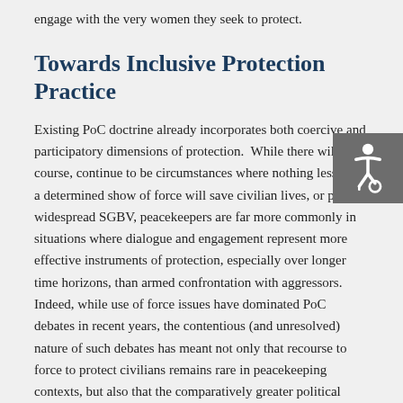engage with the very women they seek to protect.
Towards Inclusive Protection Practice
Existing PoC doctrine already incorporates both coercive and participatory dimensions of protection.  While there will of course, continue to be circumstances where nothing less than a determined show of force will save civilian lives, or prevent widespread SGBV, peacekeepers are far more commonly in situations where dialogue and engagement represent more effective instruments of protection, especially over longer time horizons, than armed confrontation with aggressors.  Indeed, while use of force issues have dominated PoC debates in recent years, the contentious (and unresolved) nature of such debates has meant not only that recourse to force to protect civilians remains rare in peacekeeping contexts, but also that the comparatively greater political space that exists to expand